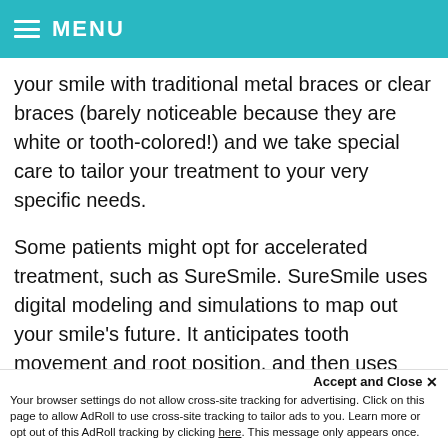MENU
your smile with traditional metal braces or clear braces (barely noticeable because they are white or tooth-colored!) and we take special care to tailor your treatment to your very specific needs.
Some patients might opt for accelerated treatment, such as SureSmile. SureSmile uses digital modeling and simulations to map out your smile's future. It anticipates tooth movement and root position, and then uses precise robot technology to help carry out the goals shared by you and your Surprise orthodontist. These advances in orthodontic technology can help ensure a speedier route...
Accept and Close ✕ Your browser settings do not allow cross-site tracking for advertising. Click on this page to allow AdRoll to use cross-site tracking to tailor ads to you. Learn more or opt out of this AdRoll tracking by clicking here. This message only appears once.